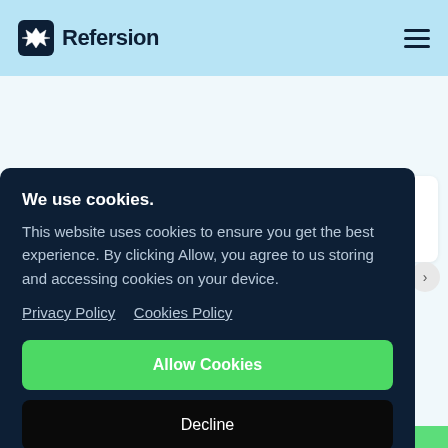Refersion
VIP
Alice May  Tiered by Conv  $0  Pending
We use cookies.
This website uses cookies to ensure you get the best experience. By clicking Allow, you agree to us storing and accessing cookies on your device.
Privacy Policy  Cookies Policy
Allow Cookies
Decline